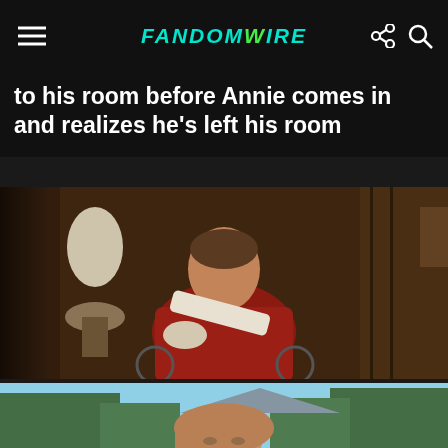FandomWire
to his room before Annie comes in and realizes he's left his room
[Figure (photo): Movie still showing a man in a red sweater with his arm in a sling, seated in a wheelchair, in an indoor room setting with a lamp and wooden furniture visible]
[Figure (photo): Movie still showing a woman with long hair outdoors with trees and mountains in the background, eyes partially closed]